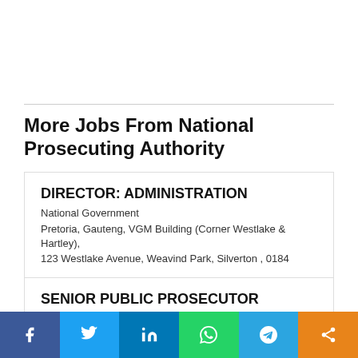More Jobs From National Prosecuting Authority
DIRECTOR: ADMINISTRATION
National Government
Pretoria, Gauteng, VGM Building (Corner Westlake & Hartley), 123 Westlake Avenue, Weavind Park, Silverton , 0184
SENIOR PUBLIC PROSECUTOR
National Government
Pretoria, Gauteng, VGM Building (Corner Westlake & Hartley), 123 Westlake Avenue, Weavind Park, Silverton , 0184